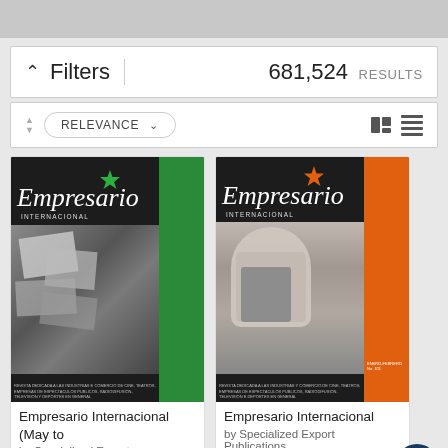Filters   681,524 RESULTS
RELEVANCE
[Figure (screenshot): Left magazine cover: Empresario Internacional with green stripe and star, black background, vintage photo collage]
[Figure (screenshot): Right magazine cover: Empresario Internacional with orange stripe and star, black background, vintage photo of person reading]
Empresario Internacional (May to
by Specialized Export Publications
Empresario Internacional
by Specialized Export Publications